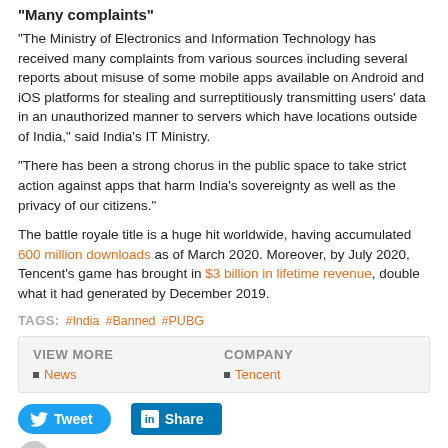"Many complaints"
"The Ministry of Electronics and Information Technology has received many complaints from various sources including several reports about misuse of some mobile apps available on Android and iOS platforms for stealing and surreptitiously transmitting users' data in an unauthorized manner to servers which have locations outside of India," said India's IT Ministry.
"There has been a strong chorus in the public space to take strict action against apps that harm India's sovereignty as well as the privacy of our citizens."
The battle royale title is a huge hit worldwide, having accumulated 600 million downloads as of March 2020. Moreover, by July 2020, Tencent's game has brought in $3 billion in lifetime revenue, double what it had generated by December 2019.
TAGS: #India #Banned #PUBG
| VIEW MORE | COMPANY |
| --- | --- |
| News | Tencent |
Tweet  Share
Kayleigh Partleton